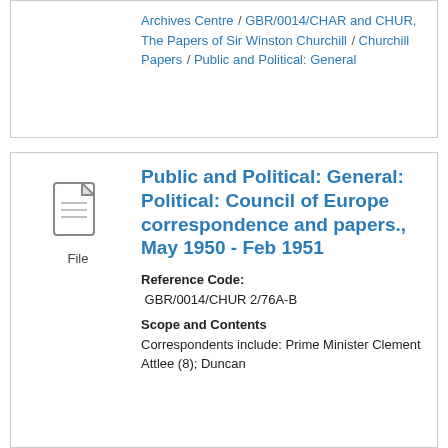Archives Centre / GBR/0014/CHAR and CHUR, The Papers of Sir Winston Churchill / Churchill Papers / Public and Political: General
Public and Political: General: Political: Council of Europe correspondence and papers., May 1950 - Feb 1951
Reference Code: GBR/0014/CHUR 2/76A-B
Scope and Contents
Correspondents include: Prime Minister Clement Attlee (8); Duncan